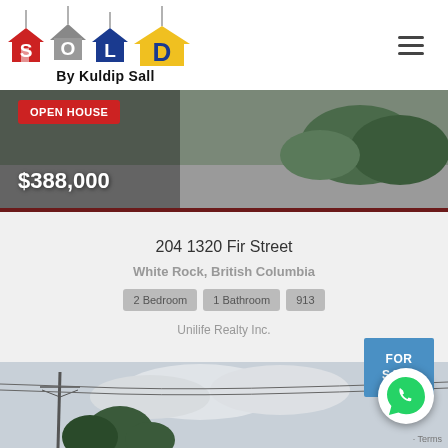[Figure (logo): SOLD By Kuldip Sall real estate logo with colorful house icons spelling SOLD]
[Figure (photo): Street view photo of property with dark border at bottom, showing road and vegetation]
OPEN HOUSE
$388,000
204 1320 Fir Street
White Rock, British Columbia
2 Bedroom
1 Bathroom
913
Unilife Realty Inc.
[Figure (photo): Street scene with utility poles, trees, and overcast sky]
FOR SALE
[Figure (illustration): WhatsApp chat button icon (green phone in speech bubble)]
Terms